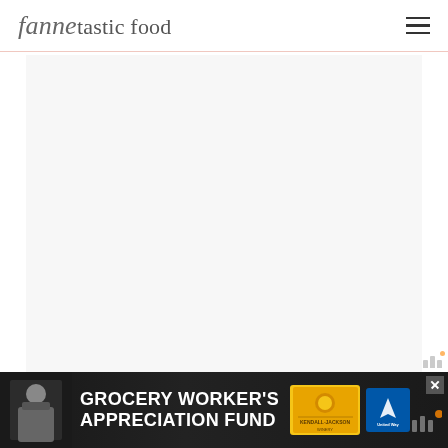fannetastic food
[Figure (screenshot): Large white/light gray placeholder image area below the site header]
[Figure (photo): Advertisement banner at the bottom: Grocery Worker's Appreciation Fund, featuring Kendall-Jackson and United Way logos, with a photo of a grocery worker on the left]